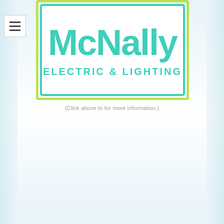[Figure (logo): McNally Electric & Lighting company logo — teal/green text on white background with a lime green and teal rectangular border]
(Click above to for more information.)